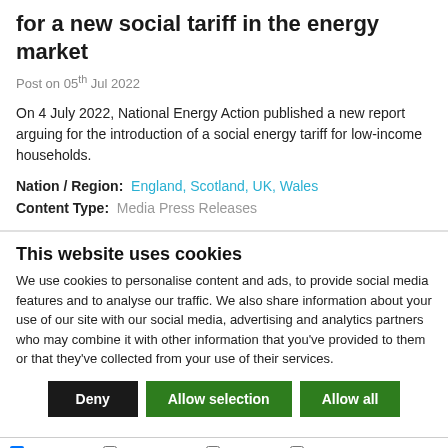for a new social tariff in the energy market
Post on 05th Jul 2022
On 4 July 2022, National Energy Action published a new report arguing for the introduction of a social energy tariff for low-income households.
Nation / Region: England, Scotland, UK, Wales
Content Type: Media Press Releases
This website uses cookies
We use cookies to personalise content and ads, to provide social media features and to analyse our traffic. We also share information about your use of our site with our social media, advertising and analytics partners who may combine it with other information that you've provided to them or that they've collected from your use of their services.
Deny | Allow selection | Allow all
Necessary | Preferences | Statistics | Marketing | Show details